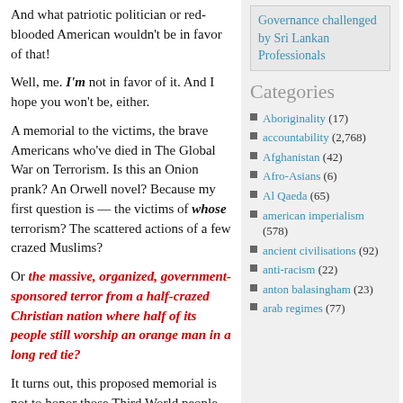And what patriotic politician or red-blooded American wouldn't be in favor of that!
Well, me. I'm not in favor of it. And I hope you won't be, either.
A memorial to the victims, the brave Americans who've died in The Global War on Terrorism. Is this an Onion prank? An Orwell novel? Because my first question is — the victims of whose terrorism? The scattered actions of a few crazed Muslims?
Or the massive, organized, government-sponsored terror from a half-crazed Christian nation where half of its people still worship an orange man in a long red tie?
It turns out, this proposed memorial is not to honor those Third World people who've been
Governance challenged by Sri Lankan Professionals
Categories
Aboriginality (17)
accountability (2,768)
Afghanistan (42)
Afro-Asians (6)
Al Qaeda (65)
american imperialism (578)
ancient civilisations (92)
anti-racism (22)
anton balasingham (23)
arab regimes (77)